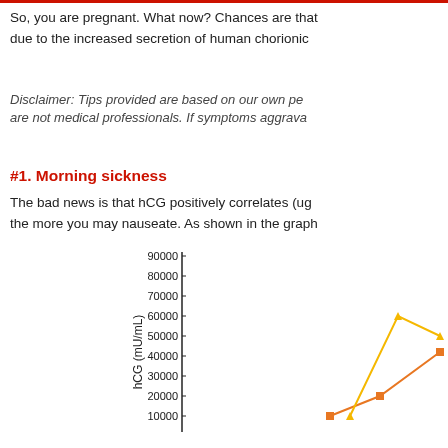So, you are pregnant. What now? Chances are that due to the increased secretion of human chorionic
Disclaimer: Tips provided are based on our own pe are not medical professionals. If symptoms aggrava
#1. Morning sickness
The bad news is that hCG positively correlates (ug the more you may nauseate. As shown in the graph
[Figure (line-chart): Line chart showing hCG levels (mU/mL) on y-axis from 0 to 90000, with two series shown in orange/yellow colors rising steeply at the right edge of the visible chart area.]